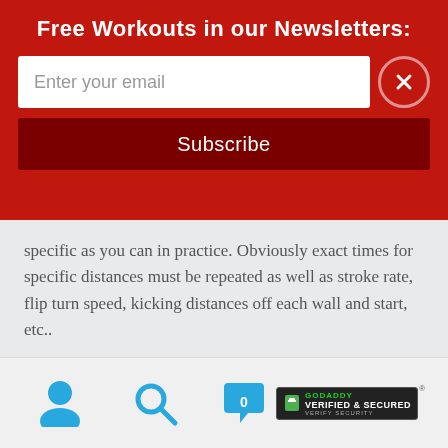Free Workouts in our Newsletters:
specific as you can in practice. Obviously exact times for specific distances must be repeated as well as stroke rate, flip turn speed, kicking distances off each wall and start, etc..
“Whether or not coaches are willing to alter entrenched coaching behaviors to provide a program that will benefit racing-oriented swimmers remains to be seen. A commitment to follow directives provided here in a disciplined manner is almost a requirement to see changes
[Figure (screenshot): Email subscription form with text input 'Enter your email', Subscribe button, and close button on red background]
[Figure (logo): GoDaddy Verified & Secured badge in bottom right corner]
[Figure (infographic): Bottom navigation bar with user icon, search icon, and notification icon with count 0]